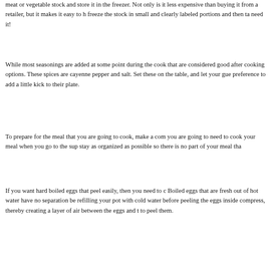meat or vegetable stock and store it in the freezer. Not only is it less expensive than buying it from a retailer, but it makes it easy to handle. freeze the stock in small and clearly labeled portions and then take what you need it!
While most seasonings are added at some point during the cooking process, that are considered good after cooking options. These spices are things like cayenne pepper and salt. Set these on the table, and let your guests use their preference to add a little kick to their plate.
To prepare for the meal that you are going to cook, make a complete list of you are going to need to cook your meal when you go to the supermarket and stay as organized as possible so there is no part of your meal tha
If you want hard boiled eggs that peel easily, then you need to cook them. Boiled eggs that are fresh out of hot water have no separation be refilling your pot with cold water before peeling the eggs inside compress, thereby creating a layer of air between the eggs and t to peel them.